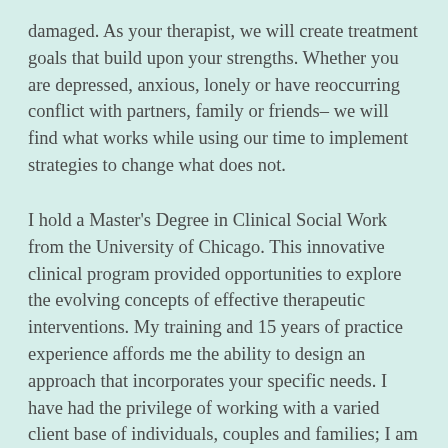damaged. As your therapist, we will create treatment goals that build upon your strengths. Whether you are depressed, anxious, lonely or have reoccurring conflict with partners, family or friends– we will find what works while using our time to implement strategies to change what does not.
I hold a Master's Degree in Clinical Social Work from the University of Chicago. This innovative clinical program provided opportunities to explore the evolving concepts of effective therapeutic interventions. My training and 15 years of practice experience affords me the ability to design an approach that incorporates your specific needs. I have had the privilege of working with a varied client base of individuals, couples and families; I am an affirming clinician that supports all gender identities and orientations. I am a registered clinician with the Oregon Board of Licensed Clinical Social Workers and for your